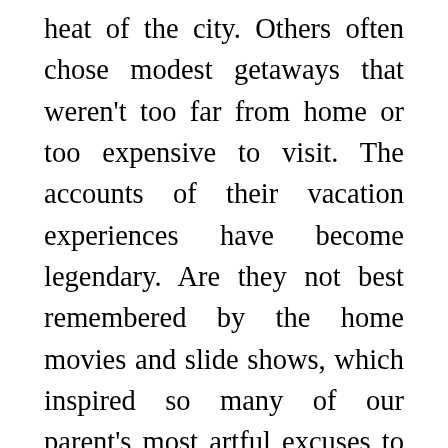heat of the city. Others often chose modest getaways that weren't too far from home or too expensive to visit. The accounts of their vacation experiences have become legendary. Are they not best remembered by the home movies and slide shows, which inspired so many of our parent's most artful excuses to “make it an early night?” Anything to beg out and avoid the boredom of watching those same